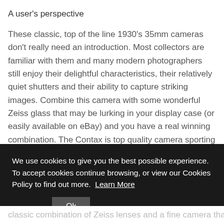A user's perspective
These classic, top of the line 1930's 35mm cameras don't really need an introduction. Most collectors are familiar with them and many modern photographers still enjoy their delightful characteristics, their relatively quiet shutters and their ability to capture striking images. Combine this camera with some wonderful Zeiss glass that may be lurking in your display case (or easily available on eBay) and you have a real winning combination. The Contax is top quality camera sporting a precision die cast chassis wrapped in fine Moroccan leather, topped with satin
We use cookies to give you the best possible experience. To accept cookies continue browsing, or view our Cookies Policy to find out more. Learn More
Ok
classic combination of Zeiss lenses and a fine camera that